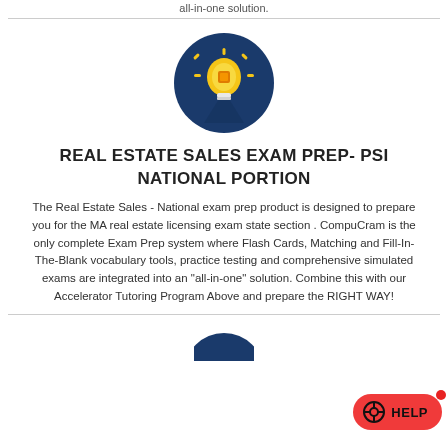all-in-one solution.
[Figure (illustration): Light bulb icon on dark blue circular background, representing an idea or knowledge.]
REAL ESTATE SALES EXAM PREP- PSI NATIONAL PORTION
The Real Estate Sales - National exam prep product is designed to prepare you for the MA real estate licensing exam state section . CompuCram is the only complete Exam Prep system where Flash Cards, Matching and Fill-In-The-Blank vocabulary tools, practice testing and comprehensive simulated exams are integrated into an “all-in-one” solution. Combine this with our Accelerator Tutoring Program Above and prepare the RIGHT WAY!